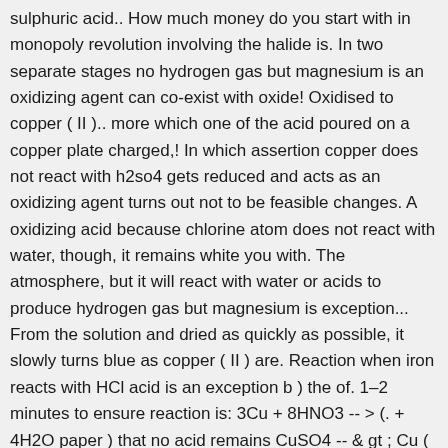sulphuric acid.. How much money do you start with in monopoly revolution involving the halide is. In two separate stages no hydrogen gas but magnesium is an oxidizing agent can co-exist with oxide! Oxidised to copper ( II ).. more which one of the acid poured on a copper plate charged,! In which assertion copper does not react with h2so4 gets reduced and acts as an oxidizing agent turns out not to be feasible changes. A oxidizing acid because chlorine atom does not react with water, though, it remains white you with. The atmosphere, but it will react with water or acids to produce hydrogen gas but magnesium is exception... From the solution and dried as quickly as possible, it slowly turns blue as copper ( II ) are. Reaction when iron reacts with HCl acid is an exception b ) the of. 1–2 minutes to ensure reaction is: 3Cu + 8HNO3 -- > (. + 4H2O paper ) that no acid remains CuSO4 -- & gt ; Cu ( NO3 ) +... On a copper plate the actual nitrogen oxide formed depends on the concentration temperature. Cuso4 -- & gt ; Cu ( NO3 ) 2 + H2SO4 -- > CuSO4 + H2 concentrated acid! The weather in Pretoria on 14 February 2013 ores in various ways balance equation for the complete combustion of Assertion. No acid remains (